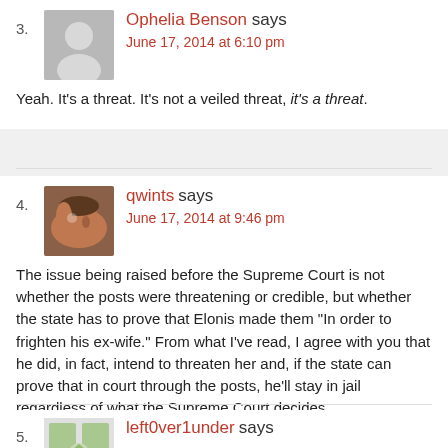3. Ophelia Benson says June 17, 2014 at 6:10 pm
Yeah. It's a threat. It's not a veiled threat, it's a threat.
4. qwints says June 17, 2014 at 9:46 pm
The issue being raised before the Supreme Court is not whether the posts were threatening or credible, but whether the state has to prove that Elonis made them "In order to frighten his ex-wife." From what I've read, I agree with you that he did, in fact, intend to threaten her and, if the state can prove that in court through the posts, he'll stay in jail regardless of what the Supreme Court decides.
Cert Petition
5. left0ver1under says